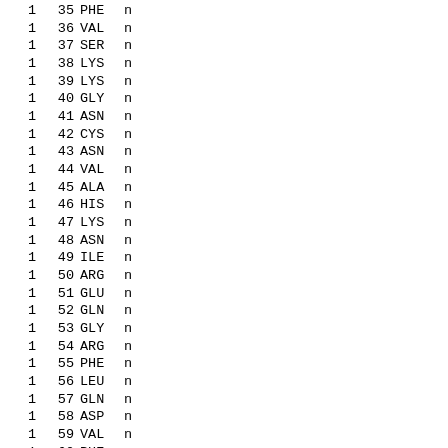| 1 | 35 | PHE | n |
| 1 | 36 | VAL | n |
| 1 | 37 | SER | n |
| 1 | 38 | LYS | n |
| 1 | 39 | LYS | n |
| 1 | 40 | GLY | n |
| 1 | 41 | ASN | n |
| 1 | 42 | CYS | n |
| 1 | 43 | ASN | n |
| 1 | 44 | VAL | n |
| 1 | 45 | ALA | n |
| 1 | 46 | HIS | n |
| 1 | 47 | LYS | n |
| 1 | 48 | ASN | n |
| 1 | 49 | ILE | n |
| 1 | 50 | ARG | n |
| 1 | 51 | GLU | n |
| 1 | 52 | GLN | n |
| 1 | 53 | GLY | n |
| 1 | 54 | ARG | n |
| 1 | 55 | PHE | n |
| 1 | 56 | LEU | n |
| 1 | 57 | GLN | n |
| 1 | 58 | ASP | n |
| 1 | 59 | VAL | n |
| 1 | 60 | PHE | n |
| 1 | 61 | THR | n |
| 1 | 62 | THR | n |
| 1 | 63 | LEU | n |
| 1 | 64 | VAL | n |
| 1 | 65 | ASP | n |